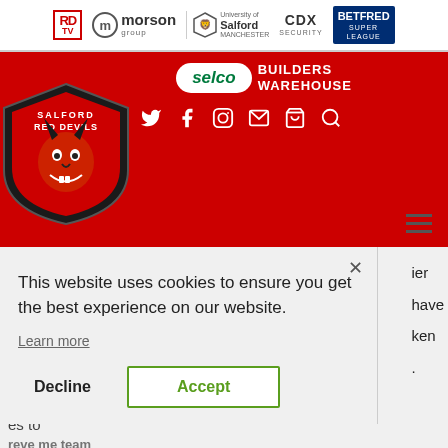[Figure (logo): Sponsor bar with RDTV, Morson Group, University of Salford Manchester, CDX Security, and Betfred Super League logos]
[Figure (logo): Selco Builders Warehouse logo on red background header]
[Figure (logo): Salford Red Devils devil mascot shield logo]
[Figure (infographic): Navigation icons: Twitter, Facebook, Instagram, email, cart, search on red background]
This website uses cookies to ensure you get the best experience on our website.
Learn more
Decline
Accept